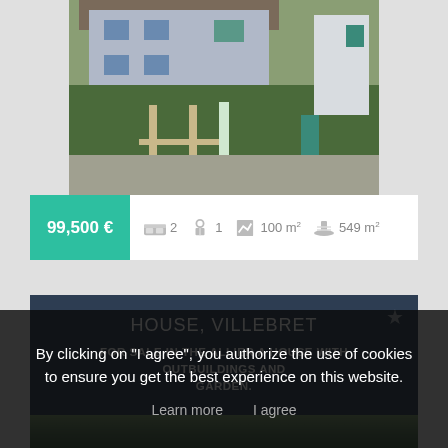[Figure (photo): House with a stone wall, green hedge, wooden fence, and gravel road in front]
99,500 €  2  1  100 m²  549 m²
HOUSE, VILLEBRET
FOR SALE IN THE ALLIER A HOUSE WITH OUTBUILDINGS AND GARDEN.
[Figure (photo): Partial view of another house with trees]
By clicking on "I agree", you authorize the use of cookies to ensure you get the best experience on this website.
Learn more    I agree